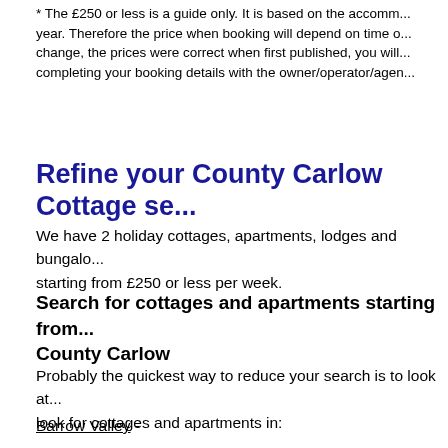* The £250 or less is a guide only. It is based on the accommodation price per year. Therefore the price when booking will depend on time of year. Prices can change, the prices were correct when first published, you will be advised when completing your booking details with the owner/operator/agent.
Refine your County Carlow Cottage se...
We have 2 holiday cottages, apartments, lodges and bungalows starting from £250 or less per week.
Search for cottages and apartments starting from... County Carlow
Probably the quickest way to reduce your search is to look at... look for cottages and apartments in:
Barrow Valley -